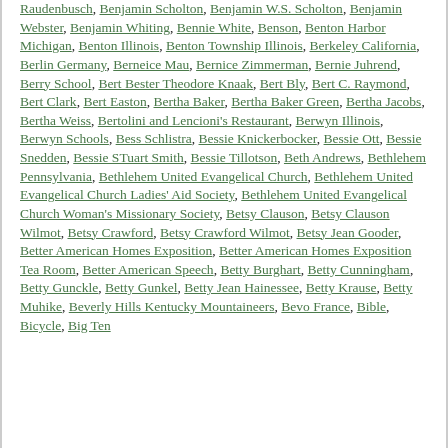Raudenbusch, Benjamin Scholton, Benjamin W.S. Scholton, Benjamin Webster, Benjamin Whiting, Bennie White, Benson, Benton Harbor Michigan, Benton Illinois, Benton Township Illinois, Berkeley California, Berlin Germany, Berneice Mau, Bernice Zimmerman, Bernie Juhrend, Berry School, Bert Bester Theodore Knaak, Bert Bly, Bert C. Raymond, Bert Clark, Bert Easton, Bertha Baker, Bertha Baker Green, Bertha Jacobs, Bertha Weiss, Bertolini and Lencioni's Restaurant, Berwyn Illinois, Berwyn Schools, Bess Schlistra, Bessie Knickerbocker, Bessie Ott, Bessie Snedden, Bessie STuart Smith, Bessie Tillotson, Beth Andrews, Bethlehem Pennsylvania, Bethlehem United Evangelical Church, Bethlehem United Evangelical Church Ladies' Aid Society, Bethlehem United Evangelical Church Woman's Missionary Society, Betsy Clauson, Betsy Clauson Wilmot, Betsy Crawford, Betsy Crawford Wilmot, Betsy Jean Gooder, Better American Homes Exposition, Better American Homes Exposition Tea Room, Better American Speech, Betty Burghart, Betty Cunningham, Betty Gunckle, Betty Gunkel, Betty Jean Hainessee, Betty Krause, Betty Muhike, Beverly Hills Kentucky Mountaineers, Bevo France, Bible, Bicycle, Big Ten